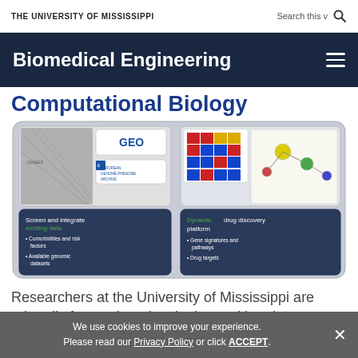THE UNIVERSITY OF MISSISSIPPI
Biomedical Engineering
Computational Biology
[Figure (infographic): Infographic showing two panels: left panel with GEO and European Genome-Phenome Archive logos plus microscopy image, captioned 'Screen and integrate existing data' with bullets 'Comorbidities and risk factors' and 'Available genomic datasets'; right panel with heatmap and pathway diagram, captioned 'Dynamic drug discovery platform' with bullets 'Gene signatures and pathways' and 'Drug targets'.]
Researchers at the University of Mississippi are primarily focused on developing multi-omics
We use cookies to improve your experience. Please read our Privacy Policy or click ACCEPT.